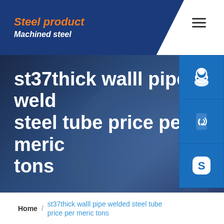Steel product | Machined steel
st37thick walll pipe welded steel tube price per meric tons
[Figure (screenshot): Website hero banner with dark blue background showing steel pipe content]
Home / st37thick walll pipe welded steel tube price per meric tons